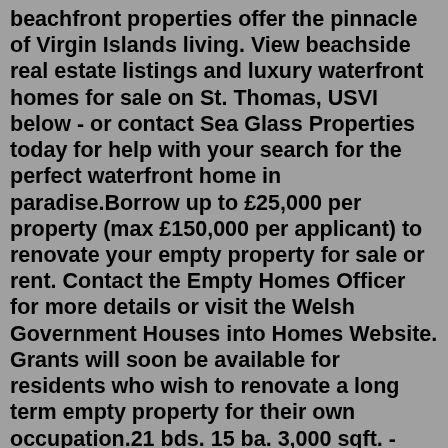beachfront properties offer the pinnacle of Virgin Islands living. View beachside real estate listings and luxury waterfront homes for sale on St. Thomas, USVI below - or contact Sea Glass Properties today for help with your search for the perfect waterfront home in paradise.Borrow up to £25,000 per property (max £150,000 per applicant) to renovate your empty property for sale or rent. Contact the Empty Homes Officer for more details or visit the Welsh Government Houses into Homes Website. Grants will soon be available for residents who wish to renovate a long term empty property for their own occupation.21 bds. 15 ba. 3,000 sqft. - Multi-family home for sale. 11 days on Zillow. 454 W Alondra Blvd, Compton, CA 90220. LYON STAHL INVESTMENT REAL EST. $480,000. 2 bds. The Empty Homes Officer will alert both parties when there is a 'match' between an empty home for sale and a buyer's requirements. Selling an empty home If you are the owner of an empty property and want to register for the scheme, please complete seller registration form and return t